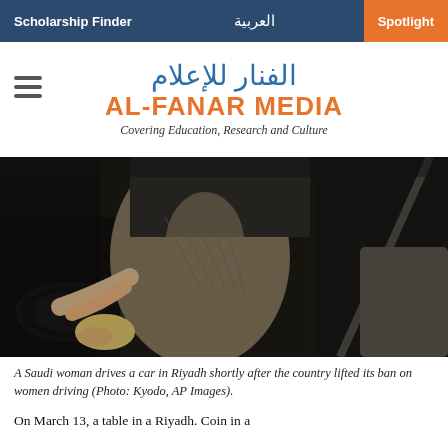Scholarship Finder | العربية | Spotlight
الفنار للإعلام
AL-FANAR MEDIA
Covering Education, Research and Culture
[Figure (photo): A Saudi woman sitting in the driver's seat of a car, wearing black abaya, photographed in Riyadh shortly after Saudi Arabia lifted its ban on women driving.]
A Saudi woman drives a car in Riyadh shortly after the country lifted its ban on women driving (Photo: Kyodo, AP Images).
On March 13, a table in a Riyadh. Coin in a